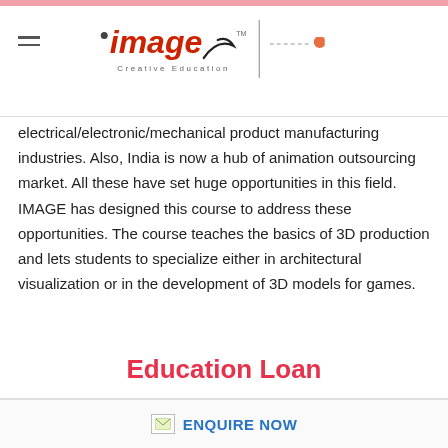[Figure (logo): IMAGE Creative Education logo with hamburger menu icon and divider line]
electrical/electronic/mechanical product manufacturing industries. Also, India is now a hub of animation outsourcing market. All these have set huge opportunities in this field. IMAGE has designed this course to address these opportunities. The course teaches the basics of 3D production and lets students to specialize either in architectural visualization or in the development of 3D models for games.
Education Loan
ENQUIRE NOW